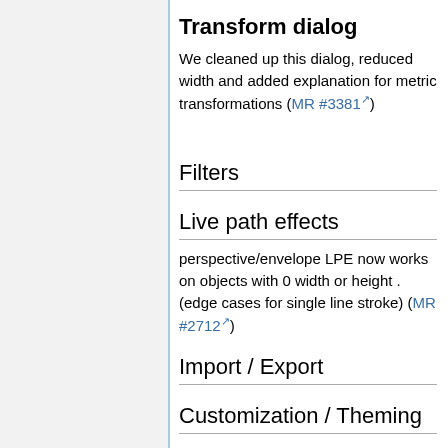Transform dialog
We cleaned up this dialog, reduced width and added explanation for metric transformations (MR #3381)
Filters
Live path effects
perspective/envelope LPE now works on objects with 0 width or height . (edge cases for single line stroke) (MR #2712)
Import / Export
Customization / Theming